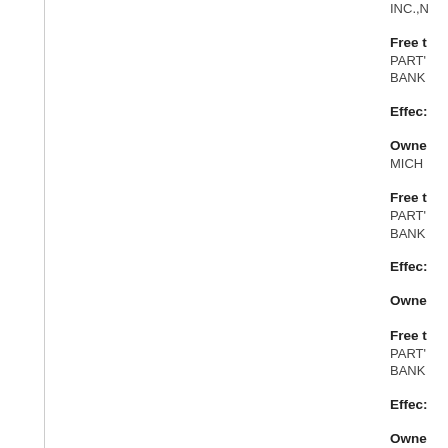INC.,N
Free t
PART'
BANK
Effec:
Owne
MICH
Free t
PART'
BANK
Effec:
Owne
Free t
PART'
BANK
Effec:
Owne
MICH
Free t
PART'
BANK